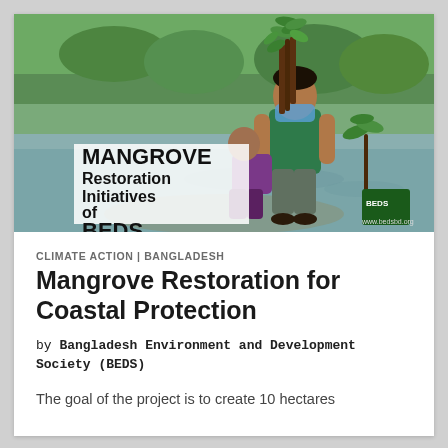[Figure (photo): A man in a green t-shirt and face mask carrying mangrove seedlings while wading through water in a coastal area. Text overlay on the left reads 'MANGROVE Restoration Initiatives of BEDS'. BEDS logo and www.bedsbd.org visible in bottom right corner.]
CLIMATE ACTION | BANGLADESH
Mangrove Restoration for Coastal Protection
by Bangladesh Environment and Development Society (BEDS)
The goal of the project is to create 10 hectares